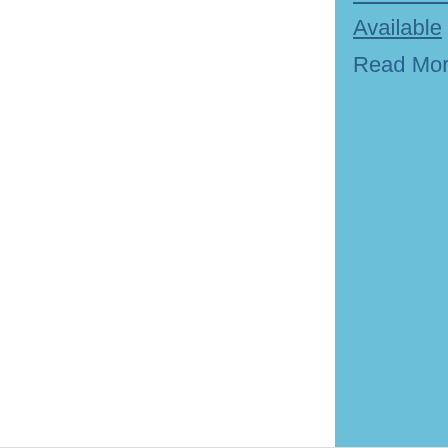September/October Marina Newsletter Now Available
September/October
Marina Newsletter Now
Available
Read More
SEP 01, 2020
[Figure (photo): News Update image with dark blue background and city skyline]
City of Everett Grand Avenue Park Bridge Now Open for Public Use!